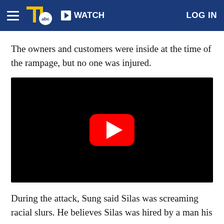WATCH  LOG IN
The owners and customers were inside at the time of the rampage, but no one was injured.
[Figure (screenshot): Embedded video player with black background and YouTube-style red play button in the center]
During the attack, Sung said Silas was screaming racial slurs. He believes Silas was hired by a man his